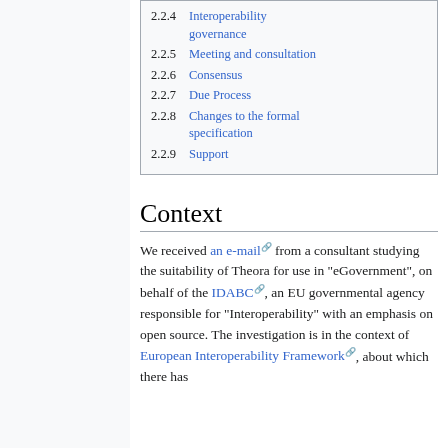2.2.4 Interoperability governance
2.2.5 Meeting and consultation
2.2.6 Consensus
2.2.7 Due Process
2.2.8 Changes to the formal specification
2.2.9 Support
Context
We received an e-mail from a consultant studying the suitability of Theora for use in "eGovernment", on behalf of the IDABC, an EU governmental agency responsible for "Interoperability" with an emphasis on open source. The investigation is in the context of European Interoperability Framework, about which there has